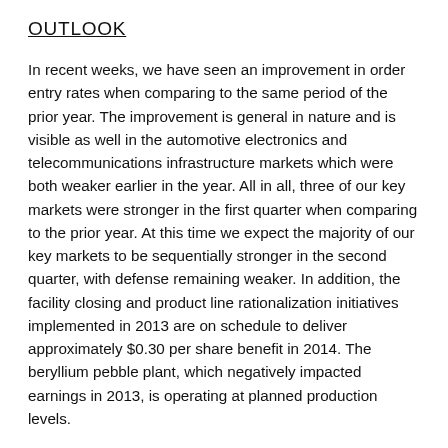OUTLOOK
In recent weeks, we have seen an improvement in order entry rates when comparing to the same period of the prior year. The improvement is general in nature and is visible as well in the automotive electronics and telecommunications infrastructure markets which were both weaker earlier in the year. All in all, three of our key markets were stronger in the first quarter when comparing to the prior year. At this time we expect the majority of our key markets to be sequentially stronger in the second quarter, with defense remaining weaker. In addition, the facility closing and product line rationalization initiatives implemented in 2013 are on schedule to deliver approximately $0.30 per share benefit in 2014. The beryllium pebble plant, which negatively impacted earnings in 2013, is operating at planned production levels.
At this time, results on a GAAP basis, including the benefits from the first quarter asset sale and the second quarter